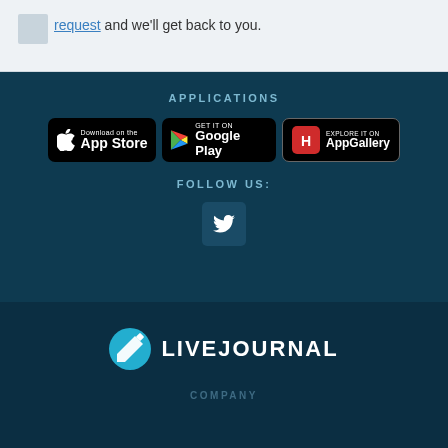request and we'll get back to you.
APPLICATIONS
[Figure (logo): App Store badge - Download on the App Store]
[Figure (logo): Google Play badge - GET IT ON Google Play]
[Figure (logo): Huawei AppGallery badge - EXPLORE IT ON AppGallery]
FOLLOW US:
[Figure (logo): Twitter/X social media icon button]
[Figure (logo): LiveJournal logo with pencil icon]
COMPANY